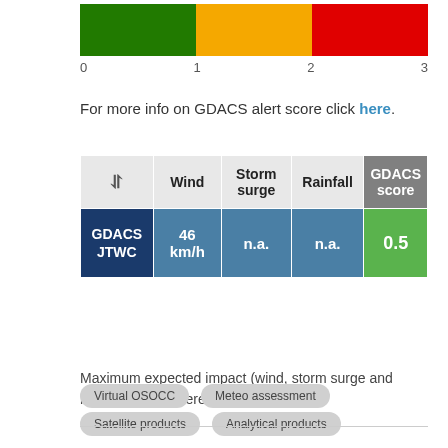[Figure (other): Alert score color scale bar: green (0-1), orange (1-2), red (2-3) with axis labels 0, 1, 2, 3]
For more info on GDACS alert score click here.
|  | Wind | Storm surge | Rainfall | GDACS score |
| --- | --- | --- | --- | --- |
| GDACS JTWC | 46 km/h | n.a. | n.a. | 0.5 |
Maximum expected impact (wind, storm surge and rainfall) using different data sources.
Virtual OSOCC
Meteo assessment
Satellite products
Analytical products